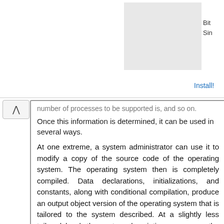[Figure (other): Advertisement banner with gray box, 'Ad' label, partial text 'Bit' and 'Sin', and 'Install!' link]
number of processes to be supported is, and so on.
Once this information is determined, it can be used in several ways.
At one extreme, a system administrator can use it to modify a copy of the source code of the operating system. The operating system then is completely compiled. Data declarations, initializations, and constants, along with conditional compilation, produce an output object version of the operating system that is tailored to the system described. At a slightly less tailored level, the system description can cause the creation of tables and the selection of modules from a precompiled library.
These modules are linked together to form the generated operating system. Selection allows the library to contain the